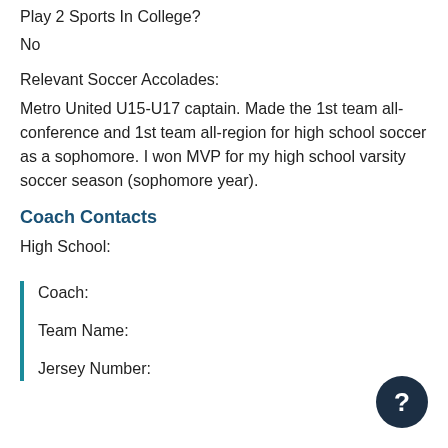Play 2 Sports In College?
No
Relevant Soccer Accolades:
Metro United U15-U17 captain. Made the 1st team all-conference and 1st team all-region for high school soccer as a sophomore. I won MVP for my high school varsity soccer season (sophomore year).
Coach Contacts
High School:
Coach:
Team Name:
Jersey Number: